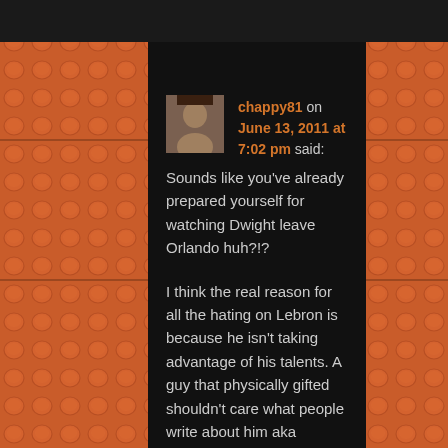chappy81 on June 13, 2011 at 7:02 pm said:
Sounds like you've already prepared yourself for watching Dwight leave Orlando huh?!?
I think the real reason for all the hating on Lebron is because he isn't taking advantage of his talents. A guy that physically gifted shouldn't care what people write about him aka tweeting about it at 2AM. He shouldn't care what his teammates think about him or if they like him. Kobe, Bird, and